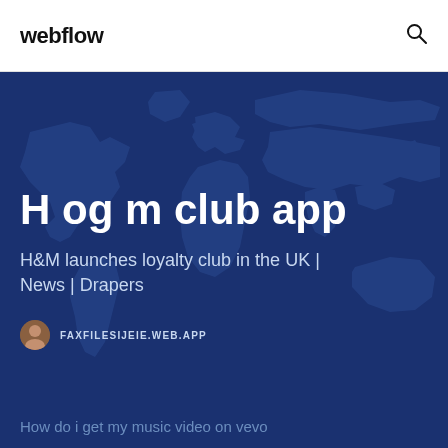webflow
[Figure (illustration): Dark blue world map on darker blue background — hero banner image]
H og m club app
H&M launches loyalty club in the UK | News | Drapers
FAXFILESIJEIE.WEB.APP
How do i get my music video on vevo